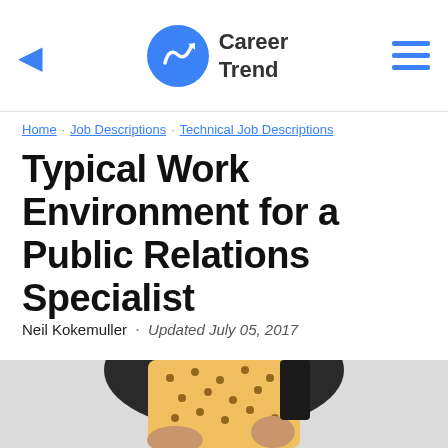Career Trend
Home · Job Descriptions · Technical Job Descriptions
Typical Work Environment for a Public Relations Specialist
Neil Kokemuller · Updated July 05, 2017
[Figure (photo): Woman in yellow polka-dot blouse seated in a black chair, photographed from mid-torso down, with light grey background.]